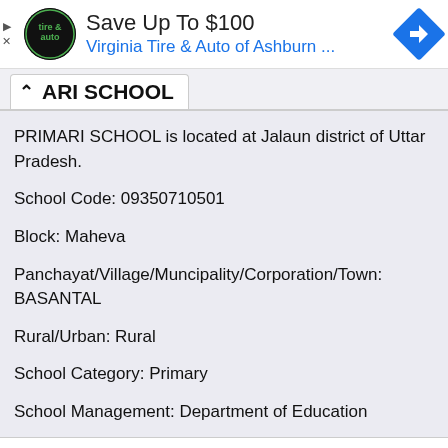[Figure (screenshot): Advertisement banner for Virginia Tire & Auto of Ashburn with logo and arrow icon, headline Save Up To $100]
ARI SCHOOL
PRIMARI SCHOOL is located at Jalaun district of Uttar Pradesh.
School Code: 09350710501
Block: Maheva
Panchayat/Village/Muncipality/Corporation/Town: BASANTAL
Rural/Urban: Rural
School Category: Primary
School Management: Department of Education
PRIMARI SCHOOL